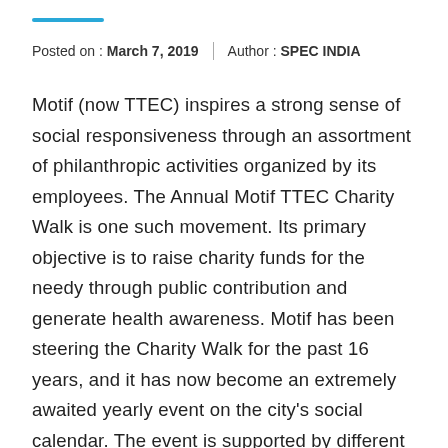Posted on : March 7, 2019 | Author : SPEC INDIA
Motif (now TTEC) inspires a strong sense of social responsiveness through an assortment of philanthropic activities organized by its employees. The Annual Motif TTEC Charity Walk is one such movement. Its primary objective is to raise charity funds for the needy through public contribution and generate health awareness. Motif has been steering the Charity Walk for the past 16 years, and it has now become an extremely awaited yearly event on the city's social calendar. The event is supported by different contributions and corporate backings. Each year, there are newly identified trusts who receive this charity amount.